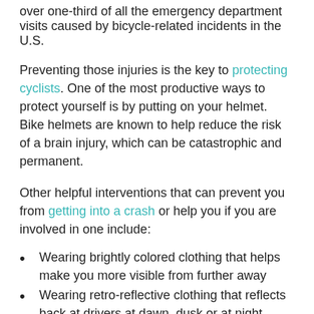over one-third of all the emergency department visits caused by bicycle-related incidents in the U.S.
Preventing those injuries is the key to protecting cyclists. One of the most productive ways to protect yourself is by putting on your helmet. Bike helmets are known to help reduce the risk of a brain injury, which can be catastrophic and permanent.
Other helpful interventions that can prevent you from getting into a crash or help you if you are involved in one include:
Wearing brightly colored clothing that helps make you more visible from further away
Wearing retro-reflective clothing that reflects back at drivers at dawn, dusk or at night